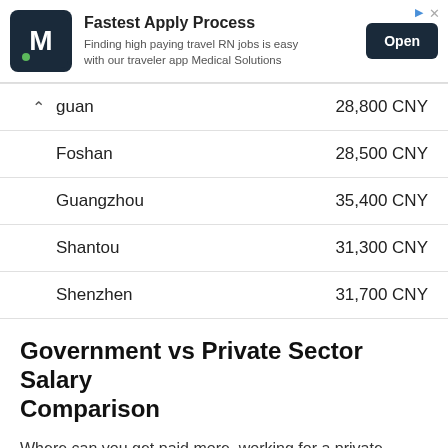[Figure (screenshot): Advertisement banner for Medical Solutions: Fastest Apply Process, with logo, description text, and Open button]
| City | Salary |
| --- | --- |
| gguan | 28,800 CNY |
| Foshan | 28,500 CNY |
| Guangzhou | 35,400 CNY |
| Shantou | 31,300 CNY |
| Shenzhen | 31,700 CNY |
Government vs Private Sector Salary Comparison
Where can you get paid more, working for a private company or for the government? Public sector